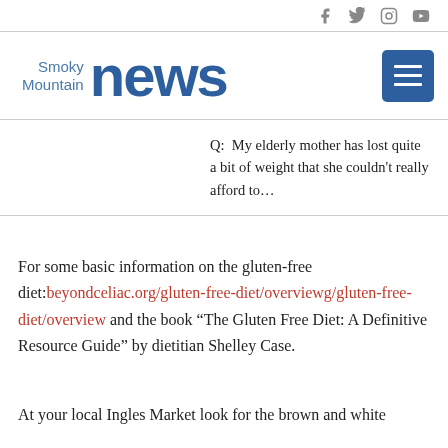Social media icons: Facebook, Twitter, Instagram, YouTube
[Figure (logo): Smoky Mountain News logo with blue text and hamburger menu button]
Q:  My elderly mother has lost quite a bit of weight that she couldn't really afford to…
For some basic information on the gluten-free diet:beyondceliac.org/gluten-free-diet/overviewg/gluten-free-diet/overview and the book “The Gluten Free Diet: A Definitive Resource Guide” by dietitian Shelley Case.
At your local Ingles Market look for the brown and white